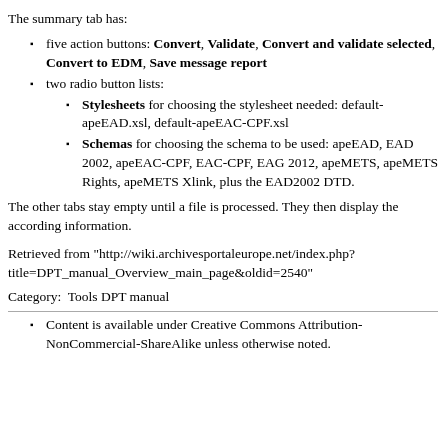The summary tab has:
five action buttons: Convert, Validate, Convert and validate selected, Convert to EDM, Save message report
two radio button lists:
Stylesheets for choosing the stylesheet needed: default-apeEAD.xsl, default-apeEAC-CPF.xsl
Schemas for choosing the schema to be used: apeEAD, EAD 2002, apeEAC-CPF, EAC-CPF, EAG 2012, apeMETS, apeMETS Rights, apeMETS Xlink, plus the EAD2002 DTD.
The other tabs stay empty until a file is processed. They then display the according information.
Retrieved from "http://wiki.archivesportaleurope.net/index.php?title=DPT_manual_Overview_main_page&oldid=2540"
Category:  Tools DPT manual
Content is available under Creative Commons Attribution-NonCommercial-ShareAlike unless otherwise noted.